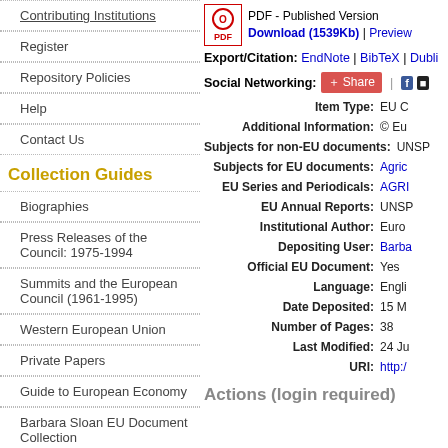Contributing Institutions
Register
Repository Policies
Help
Contact Us
Collection Guides
Biographies
Press Releases of the Council: 1975-1994
Summits and the European Council (1961-1995)
Western European Union
Private Papers
Guide to European Economy
Barbara Sloan EU Document Collection
Search and Browse
[Figure (other): PDF icon with red circle O and PDF text label]
PDF - Published Version Download (1539Kb) | Preview
Export/Citation: EndNote | BibTeX | Dubli...
Social Networking: Share | Facebook | Twitter
| Field | Value |
| --- | --- |
| Item Type: | EU C... |
| Additional Information: | © Eu... |
| Subjects for non-EU documents: | UNSP... |
| Subjects for EU documents: | Agric... |
| EU Series and Periodicals: | AGRI... |
| EU Annual Reports: | UNSP... |
| Institutional Author: | Euro... |
| Depositing User: | Barba... |
| Official EU Document: | Yes |
| Language: | Engli... |
| Date Deposited: | 15 M... |
| Number of Pages: | 38 |
| Last Modified: | 24 Ju... |
| URI: | http:/... |
Actions (login required)